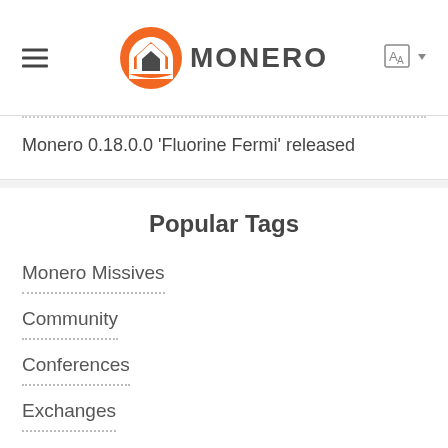MONERO
Monero 0.18.0.0 'Fluorine Fermi' released
Popular Tags
Monero Missives
Community
Conferences
Exchanges